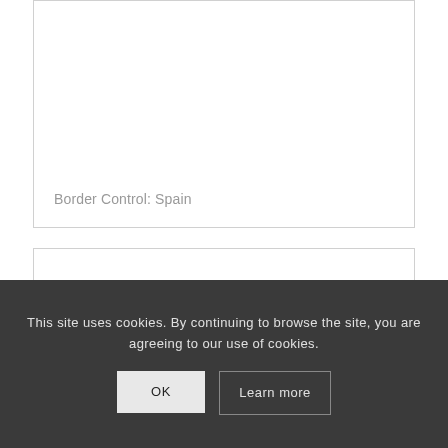[Figure (other): Card/thumbnail with white background and light gray border. Lower portion shows a caption label 'Border Control: Spain' in gray text.]
Border Control: Spain
[Figure (other): Second card/thumbnail with white background and light gray border, no visible content shown.]
This site uses cookies. By continuing to browse the site, you are agreeing to our use of cookies.
OK
Learn more